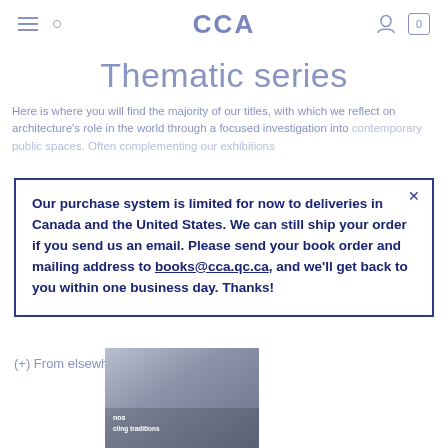CCA
Thematic series
Here is where you will find the majority of our titles, with which we reflect on architecture's role in the world through a focused investigation into contemporary public spaces. Often complementing our exhibitions…
Our purchase system is limited for now to deliveries in Canada and the United States. We can still ship your order if you send us an email. Please send your book order and mailing address to books@cca.qc.ca, and we'll get back to you within one business day. Thanks!
(+) From elsewhere
[Figure (photo): Partial view of a book cover thumbnail at the bottom of the page]